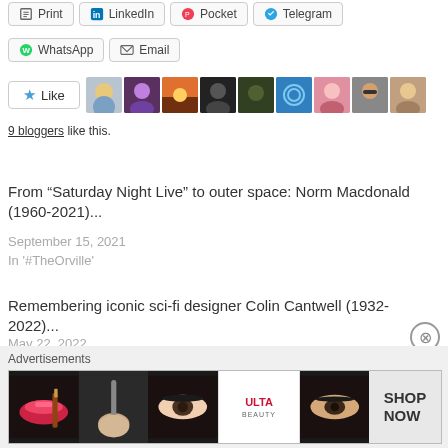[Figure (screenshot): Share buttons row: Print, LinkedIn, Pocket, Telegram]
[Figure (screenshot): Share buttons row: WhatsApp, Email]
[Figure (screenshot): Like button with star icon and 9 blogger avatars]
9 bloggers like this.
From “Saturday Night Live” to outer space: Norm Macdonald (1960-2021)...
September 15, 2021
In '#TheOrville'
Remembering iconic sci-fi designer Colin Cantwell (1932-2022)...
May 22, 2022
In '#2001:ASpaceOdyssey'
Advertisements
[Figure (photo): Advertisement banner with makeup/beauty products and ULTA logo with SHOP NOW text]